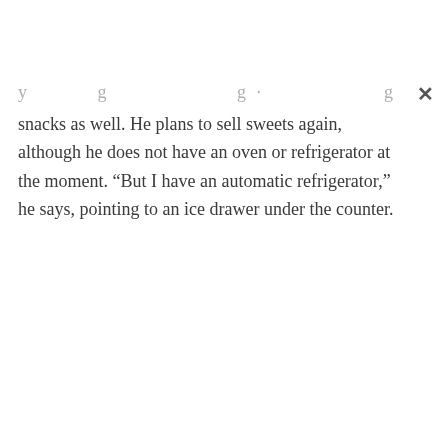snacks as well. He plans to sell sweets again, although he does not have an oven or refrigerator at the moment. “But I have an automatic refrigerator,” he says, pointing to an ice drawer under the counter.